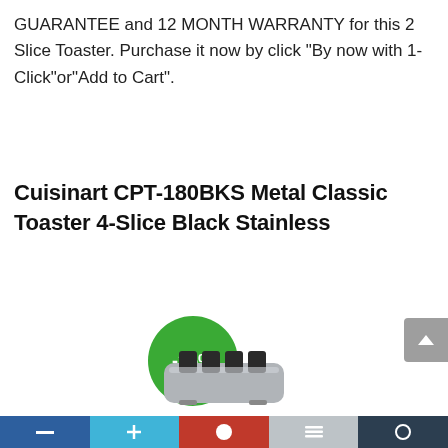GUARANTEE and 12 MONTH WARRANTY for this 2 Slice Toaster. Purchase it now by click "By now with 1-Click"or"Add to Cart".
Cuisinart CPT-180BKS Metal Classic Toaster 4-Slice Black Stainless
[Figure (infographic): Green circular badge showing -25% discount]
[Figure (photo): Gray scroll-to-top button with upward arrow chevron]
[Figure (photo): Partial image of a Cuisinart 4-slice toaster in stainless steel]
[Figure (infographic): Bottom navigation/share bar with social media icon segments in dark blue, light blue, red, gray, and dark colors]